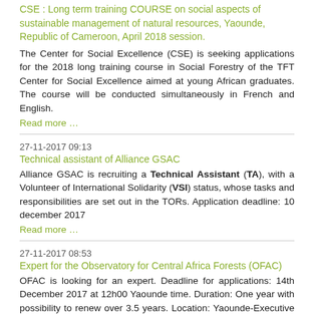CSE : Long term training COURSE on social aspects of sustainable management of natural resources, Yaounde, Republic of Cameroon, April 2018 session.
The Center for Social Excellence (CSE) is seeking applications for the 2018 long training course in Social Forestry of the TFT Center for Social Excellence aimed at young African graduates. The course will be conducted simultaneously in French and English.
Read more …
27-11-2017 09:13
Technical assistant of Alliance GSAC
Alliance GSAC is recruiting a Technical Assistant (TA), with a Volunteer of International Solidarity (VSI) status, whose tasks and responsibilities are set out in the TORs. Application deadline: 10 december 2017
Read more …
27-11-2017 08:53
Expert for the Observatory for Central Africa Forests (OFAC)
OFAC is looking for an expert. Deadline for applications: 14th December 2017 at 12h00 Yaounde time. Duration: One year with possibility to renew over 3.5 years. Location: Yaounde-Executive Secretariat of COMIFAC.
Read more …
27-11-2017 07:38
CIFOR: Communication Officer for Central Africa
CIFOR is looking for a Communication Officer for Central Africa. The Communications Officer will collaborate with CIFOR's communication teams globally, especially those based at its headquarters in Indonesia. This nationally recruited position will require travel across Central Africa and elsewhere globally.The application deadline is 20 Dec-2017.